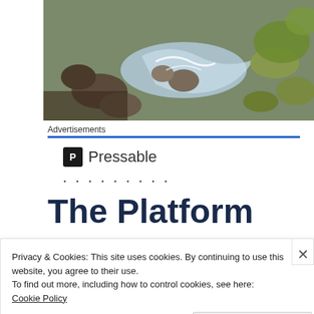[Figure (photo): A rocky stream with rushing water and moss-covered stones, outdoor nature photography]
Advertisements
[Figure (logo): Pressable logo — a black square icon with letter P and the word Pressable]
· · · · · · · · ·
The Platform
Where WordPr...
Privacy & Cookies: This site uses cookies. By continuing to use this website, you agree to their use.
To find out more, including how to control cookies, see here:
Cookie Policy
Close and accept